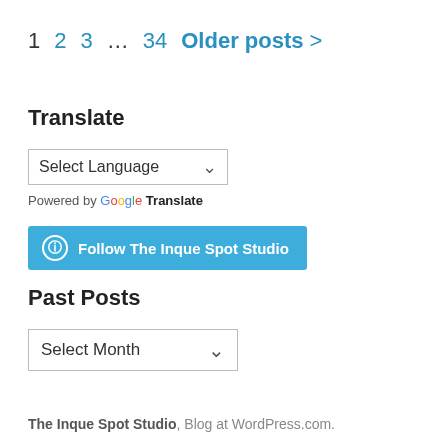1   2   3   ...   34   Older posts >
Translate
Select Language ▾
Powered by Google Translate
Follow The Inque Spot Studio
Past Posts
Select Month ▾
The Inque Spot Studio, Blog at WordPress.com.